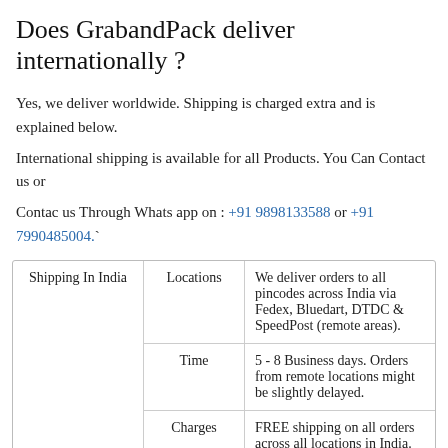Does GrabandPack deliver internationally ?
Yes, we deliver worldwide. Shipping is charged extra and is explained below.
International shipping is available for all Products. You Can Contact us or Contac us Through Whats app on : +91 9898133588 or +91 7990485004.`
| Category | Sub-category | Detail |
| --- | --- | --- |
| Shipping In India | Locations | We deliver orders to all pincodes across India via Fedex, Bluedart, DTDC & SpeedPost (remote areas). |
| Shipping In India | Time | 5 - 8 Business days. Orders from remote locations might be slightly delayed. |
| Shipping In India | Charges | FREE shipping on all orders across all locations in India. |
|  | Locations | We ship to following countries:
Select Country |